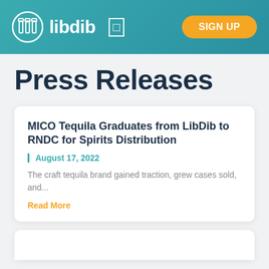libdib | SIGN UP
Press Releases
MICO Tequila Graduates from LibDib to RNDC for Spirits Distribution
August 17, 2022
The craft tequila brand gained traction, grew cases sold, and...
Read More